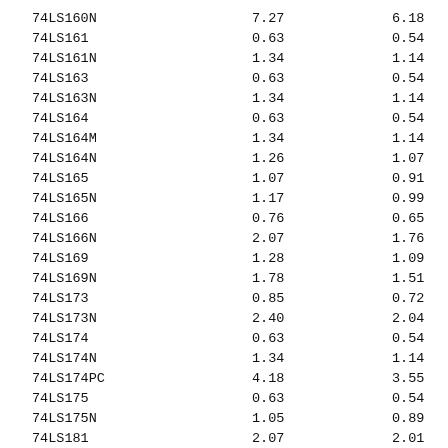| 74LS160N | 7.27 | 6.18 |
| 74LS161 | 0.63 | 0.54 |
| 74LS161N | 1.34 | 1.14 |
| 74LS163 | 0.63 | 0.54 |
| 74LS163N | 1.34 | 1.14 |
| 74LS164 | 0.63 | 0.54 |
| 74LS164M | 1.34 | 1.14 |
| 74LS164N | 1.26 | 1.07 |
| 74LS165 | 1.07 | 0.91 |
| 74LS165N | 1.17 | 0.99 |
| 74LS166 | 0.76 | 0.65 |
| 74LS166N | 2.07 | 1.76 |
| 74LS169 | 1.28 | 1.09 |
| 74LS169N | 1.78 | 1.51 |
| 74LS173 | 0.85 | 0.72 |
| 74LS173N | 2.40 | 2.04 |
| 74LS174 | 0.63 | 0.54 |
| 74LS174N | 1.34 | 1.14 |
| 74LS174PC | 4.18 | 3.55 |
| 74LS175 | 0.63 | 0.54 |
| 74LS175N | 1.05 | 0.89 |
| 74LS181 | 2.07 | 2.01 |